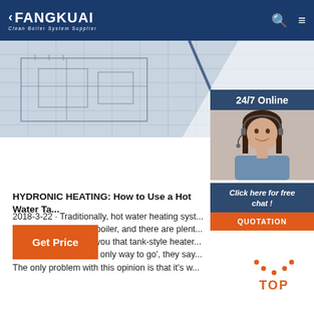FANGKUAI Clean Boiler System Supplier
[Figure (photo): Blueprint/engineering drawings background image with diagonal white gradient overlay]
[Figure (photo): 24/7 Online customer service widget showing a smiling woman with headset, with 'Click here for free chat!' text and QUOTATION button]
HYDRONIC HEATING: How to Use a Hot Water Ta...
2018-3-22 · Traditionally, hot water heating syst... fired by some kind of boiler, and there are plent... contractors who'll tell you that tank-style heater... heating. 'A boiler's the only way to go', they say... The only problem with this opinion is that it's w...
[Figure (other): Orange 'Get Price' button]
[Figure (other): Orange 'TOP' scroll-to-top button with dotted arc above text]